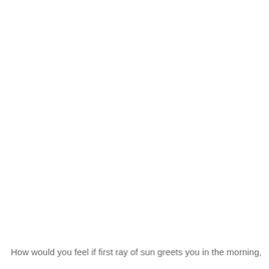How would you feel if first ray of sun greets you in the morning,